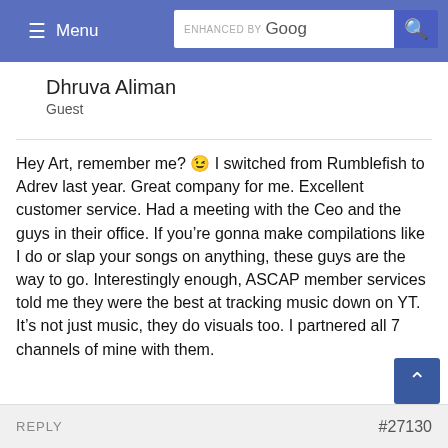≡ Menu | ENHANCED BY Google [search]
Dhruva Aliman
Guest
Hey Art, remember me? 😊 I switched from Rumblefish to Adrev last year. Great company for me. Excellent customer service. Had a meeting with the Ceo and the guys in their office. If you're gonna make compilations like I do or slap your songs on anything, these guys are the way to go. Interestingly enough, ASCAP member services told me they were the best at tracking music down on YT.
It's not just music, they do visuals too. I partnered all 7 channels of mine with them.
REPLY   #27130